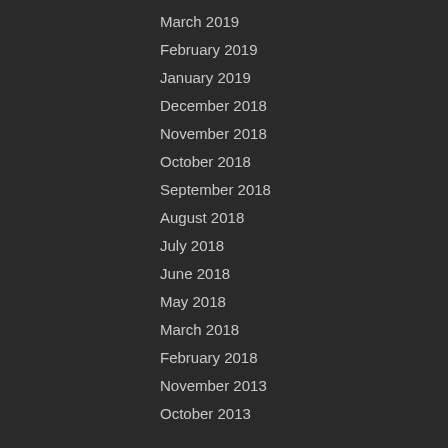March 2019
February 2019
January 2019
December 2018
November 2018
October 2018
September 2018
August 2018
July 2018
June 2018
May 2018
March 2018
February 2018
November 2013
October 2013